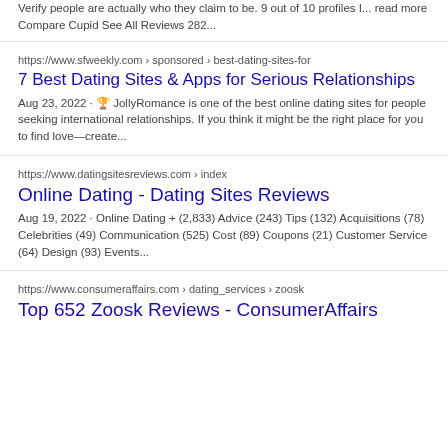Verify people are actually who they claim to be. 9 out of 10 profiles I... read more Compare Cupid See All Reviews 282...
https://www.sfweekly.com › sponsored › best-dating-sites-for
7 Best Dating Sites & Apps for Serious Relationships
Aug 23, 2022 · 🏆 JollyRomance is one of the best online dating sites for people seeking international relationships. If you think it might be the right place for you to find love—create...
https://www.datingsitesreviews.com › index
Online Dating - Dating Sites Reviews
Aug 19, 2022 · Online Dating + (2,833) Advice (243) Tips (132) Acquisitions (78) Celebrities (49) Communication (525) Cost (89) Coupons (21) Customer Service (64) Design (93) Events...
https://www.consumeraffairs.com › dating_services › zoosk
Top 652 Zoosk Reviews - ConsumerAffairs